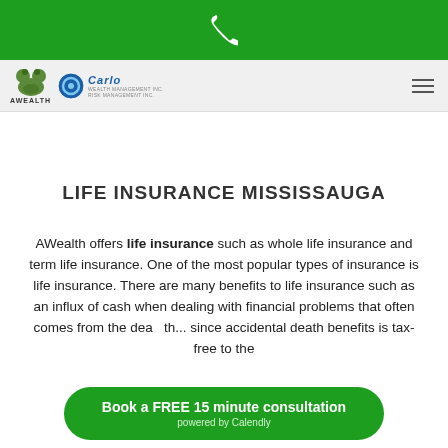[Figure (screenshot): Green header bar with white phone icon]
[Figure (logo): Navigation bar with AWealth and Carlo Wealth Management logos and hamburger menu]
LIFE INSURANCE MISSISSAUGA
AWealth offers life insurance such as whole life insurance and term life insurance. One of the most popular types of insurance is life insurance. There are many benefits to life insurance such as an influx of cash when dealing with financial problems that often comes from the dea... since accidental death benefits is tax-free to the
Book a FREE 15 minute consultation powered by Calendly